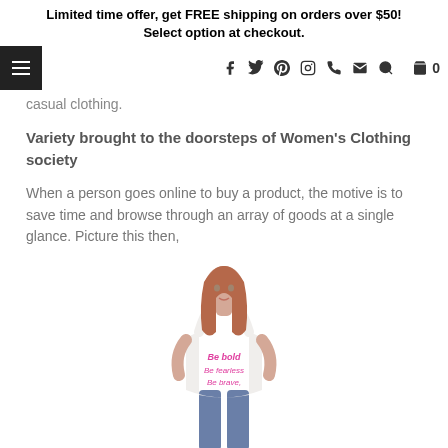Limited time offer, get FREE shipping on orders over $50! Select option at checkout.
Navigation bar with hamburger menu, social icons (facebook, twitter, pinterest, instagram, phone, email), search, and cart (0)
casual clothing.
Variety brought to the doorsteps of Women's Clothing society
When a person goes online to buy a product, the motive is to save time and browse through an array of goods at a single glance. Picture this then,
[Figure (photo): Woman wearing a white sleeveless tank top with pink text reading 'Be bold, Be fearless, Be brave,' paired with blue jeans]